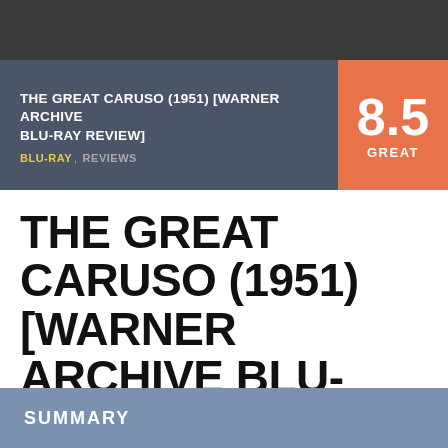THE GREAT CARUSO (1951) [WARNER ARCHIVE BLU-RAY REVIEW] | BLU-RAY, REVIEWS | 8.5 GREAT
THE GREAT CARUSO (1951) [WARNER ARCHIVE BLU-RAY REVIEW]
TroyAnderson   April 22, 2021
SUMMARY